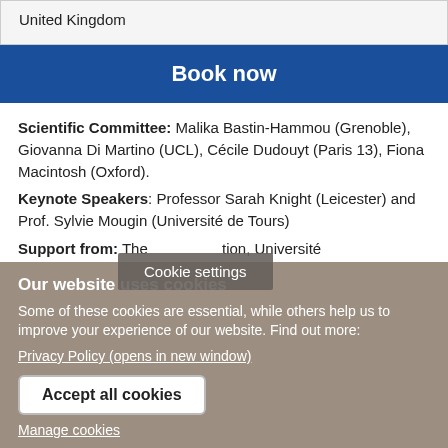United Kingdom
Book now
Scientific Committee:  Malika Bastin-Hammou (Grenoble), Giovanna Di Martino (UCL), Cécile Dudouyt (Paris 13), Fiona Macintosh (Oxford).
Keynote Speakers: Professor Sarah Knight (Leicester) and Prof. Sylvie Mougin (Université de Tours)
Support from: The [foundation], Université
Cookie settings
Our website uses cookies
Some of these cookies are essential, while others help us to improve your experience of our website. Find out more:
Privacy Policy (opens in new window)
Accept all cookies
Manage cookies